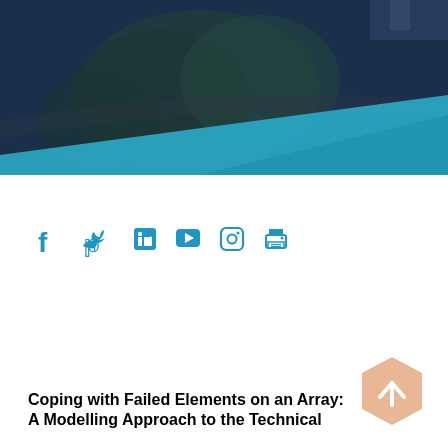[Figure (photo): Aerial/overhead photo of trees and road with dark blue overlay and teal diagonal shape in lower portion]
[Figure (illustration): Row of social media icons: Facebook, Twitter, LinkedIn, YouTube, Instagram, Print — in teal/blue color]
[Figure (illustration): Peach/salmon hexagon button with white upward arrow]
Coping with Failed Elements on an Array: A Modelling Approach to the Technical…